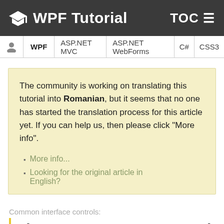WPF Tutorial  TOC
WPF  ASP.NET MVC  ASP.NET WebForms  C#  CSS3
The community is working on translating this tutorial into Romanian, but it seems that no one has started the translation process for this article yet. If you can help us, then please click "More info".
More info...
Looking for the original article in English?
Common interface controls:
The WPF StatusBar control